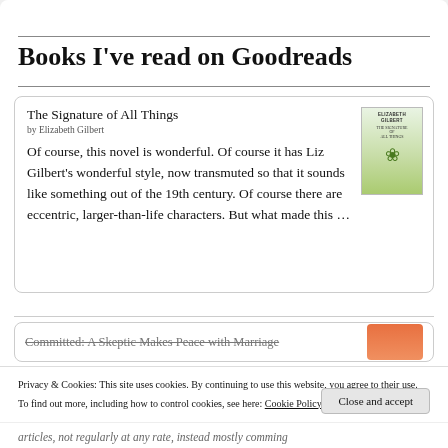Books I've read on Goodreads
The Signature of All Things
by Elizabeth Gilbert
Of course, this novel is wonderful. Of course it has Liz Gilbert's wonderful style, now transmuted so that it sounds like something out of the 19th century. Of course there are eccentric, larger-than-life characters. But what made this …
Committed: A Skeptic Makes Peace with Marriage
Privacy & Cookies: This site uses cookies. By continuing to use this website, you agree to their use.
To find out more, including how to control cookies, see here: Cookie Policy
articles, not regularly at any rate, instead mostly comming